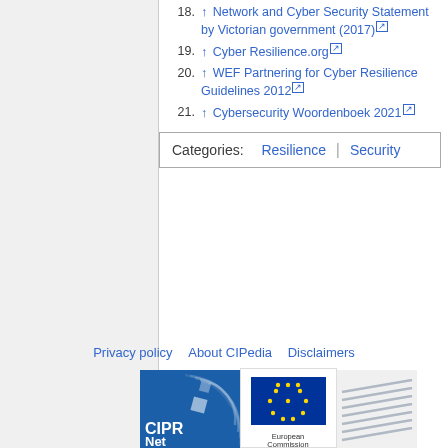18. ↑ Network and Cyber Security Statement by Victorian government (2017)
19. ↑ Cyber Resilience.org
20. ↑ WEF Partnering for Cyber Resilience Guidelines 2012
21. ↑ Cybersecurity Woordenboek 2021
Categories: Resilience | Security
Privacy policy   About CIPedia   Disclaimers